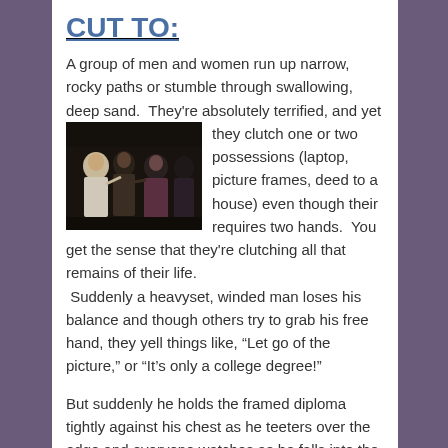CUT TO:
A group of men and women run up narrow, rocky paths or stumble through swallowing, deep sand.  They're absolutely terrified, and yet they clutch one or two possessions (laptop, picture frames, deed to a house) even though their requires two hands.  You get the sense that they're clutching all that remains of their life.
 Suddenly a heavyset, winded man loses his balance and though others try to grab his free hand, they yell things like, “Let go of the picture,” or “It’s only a college degree!”
[Figure (photo): Group of people, appears to be a still from a film or TV show, several figures visible in a dark indoor setting]
But suddenly he holds the framed diploma tightly against his chest as he teeters over the edge and everyone watches as he falls into the abyss tightly